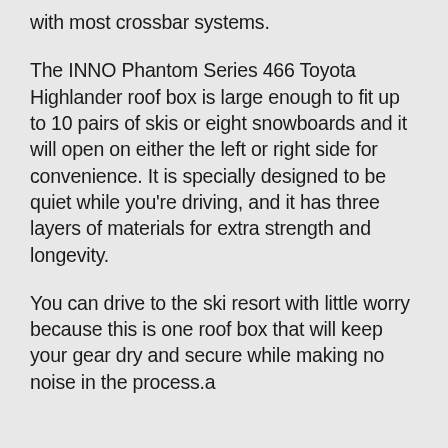with most crossbar systems.
The INNO Phantom Series 466 Toyota Highlander roof box is large enough to fit up to 10 pairs of skis or eight snowboards and it will open on either the left or right side for convenience. It is specially designed to be quiet while you're driving, and it has three layers of materials for extra strength and longevity.
You can drive to the ski resort with little worry because this is one roof box that will keep your gear dry and secure while making no noise in the process.a